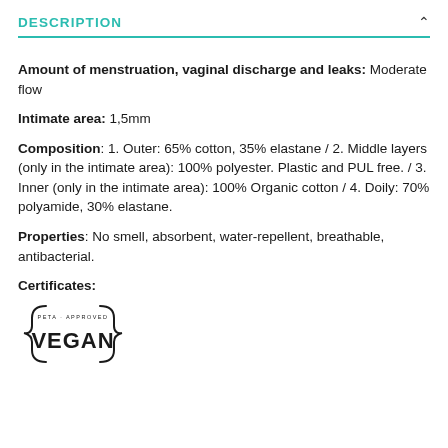DESCRIPTION
Amount of menstruation, vaginal discharge and leaks: Moderate flow
Intimate area: 1,5mm
Composition: 1. Outer: 65% cotton, 35% elastane / 2. Middle layers (only in the intimate area): 100% polyester. Plastic and PUL free. / 3. Inner (only in the intimate area): 100% Organic cotton / 4. Doily: 70% polyamide, 30% elastane.
Properties: No smell, absorbent, water-repellent, breathable, antibacterial.
Certificates:
[Figure (logo): PETA-approved Vegan logo with curly braces around the text VEGAN]